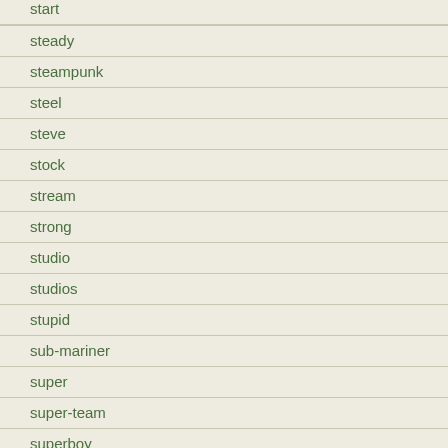start
steady
steampunk
steel
steve
stock
stream
strong
studio
studios
stupid
sub-mariner
super
super-team
superboy